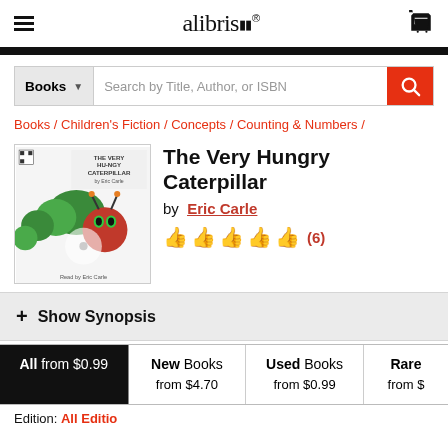alibris
Books | Search by Title, Author, or ISBN
Books / Children's Fiction / Concepts / Counting & Numbers /
[Figure (photo): Book cover of The Very Hungry Caterpillar by Eric Carle, showing a colorful caterpillar illustration]
The Very Hungry Caterpillar
by Eric Carle
(6) thumbs up ratings
+ Show Synopsis
| All | New Books | Used Books | Rare |
| --- | --- | --- | --- |
| from $0.99 | from $4.70 | from $0.99 | from $ |